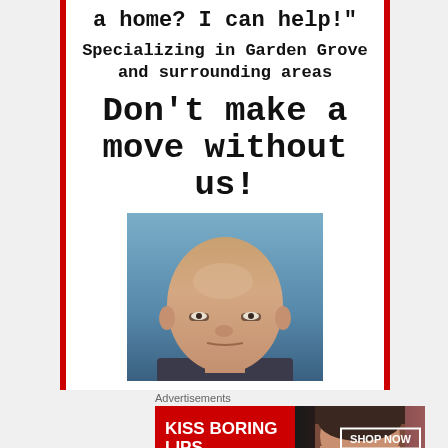a home? I can help!"
Specializing in Garden Grove and surrounding areas
Don't make a move without us!
[Figure (photo): Headshot of a bald man against a blue background]
Advertisements
[Figure (infographic): Macy's banner ad: KISS BORING LIPS GOODBYE with woman's lips photo and SHOP NOW button with Macy's star logo]